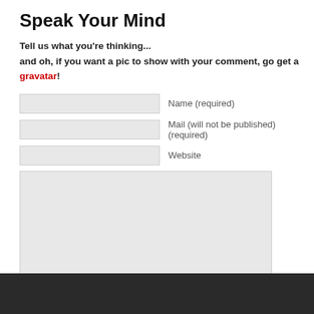Speak Your Mind
Tell us what you're thinking...
and oh, if you want a pic to show with your comment, go get a gravatar!
Name (required)
Mail (will not be published) (required)
Website
Submit Comment
Notify me of followup comments via e-mail